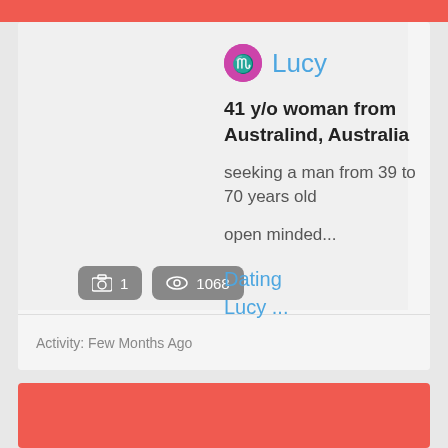[Figure (screenshot): User profile card for Lucy]
Lucy
41 y/o woman from Australind, Australia
seeking a man from 39 to 70 years old
open minded...
Dating Lucy ...
1
1068
Activity: Few Months Ago